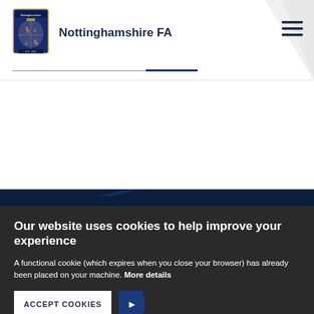[Figure (logo): Nottinghamshire FA crest/shield logo in blue and gold]
Nottinghamshire FA
[Figure (other): Hamburger menu icon (three horizontal lines) in dark navy]
Our website uses cookies to help improve your experience
A functional cookie (which expires when you close your browser) has already been placed on your machine. More details
ACCEPT COOKIES